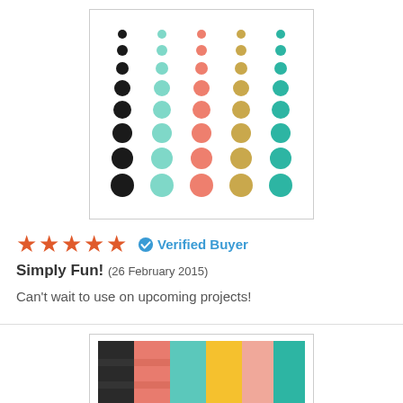[Figure (photo): Product image showing rows of colored dot/enamel stickers in black, mint, coral/pink, gold, and teal colors arranged in columns on a white background, inside a thin border box.]
★★★★★  ✔ Verified Buyer
Simply Fun! (26 February 2015)
Can't wait to use on upcoming projects!
[Figure (photo): Product image showing colorful patterned paper pad with stripes and patterns in black, coral/pink, mint, yellow/gold, light pink, and teal colors. Has a Simple Stories brand label visible.]
★★★★  ✔ Verified Buyer